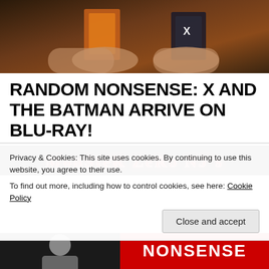[Figure (photo): Person holding two Blu-ray movie cases (Batman and X) with reddish-orange movie poster background]
RANDOM NONSENSE: X AND THE BATMAN ARRIVE ON BLU-RAY!
[Figure (photo): Monster Zero NJ's banner/logo in red and black stylized text on dark background]
Privacy & Cookies: This site uses cookies. By continuing to use this website, you agree to their use.
To find out more, including how to control cookies, see here: Cookie Policy
[Figure (photo): Bottom strip showing black and white photo on left, and red NONSENSE text on right]